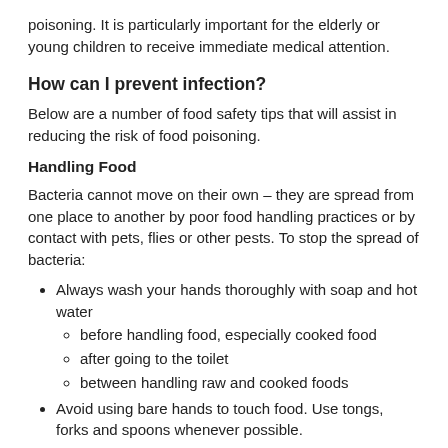poisoning.  It is particularly important for the elderly or young children to receive immediate medical attention.
How can I prevent infection?
Below are a number of food safety tips that will assist in reducing the risk of food poisoning.
Handling Food
Bacteria cannot move on their own – they are spread from one place to another by poor food handling practices or by contact with pets, flies or other pests.  To stop the spread of bacteria:
Always wash your hands thoroughly with soap and hot water
before handling food, especially cooked food
after going to the toilet
between handling raw and cooked foods
Avoid using bare hands to touch food. Use tongs, forks and spoons whenever possible.
Always clean and sanitise work surfaces and utensils. Sanitisers kill bacteria, while detergents only remove